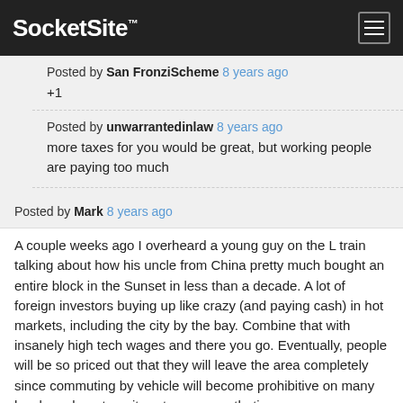SocketSite™
Posted by San FronziScheme 8 years ago
+1
Posted by unwarrantedinlaw 8 years ago
more taxes for you would be great, but working people are paying too much
Posted by Mark 8 years ago
A couple weeks ago I overheard a young guy on the L train talking about how his uncle from China pretty much bought an entire block in the Sunset in less than a decade. A lot of foreign investors buying up like crazy (and paying cash) in hot markets, including the city by the bay. Combine that with insanely high tech wages and there you go. Eventually, people will be so priced out that they will leave the area completely since commuting by vehicle will become prohibitive on many levels and our transit systems are pathetic.
Posted by San FronziScheme 8 years ago
And yet SF's population is still increasing. Which means there